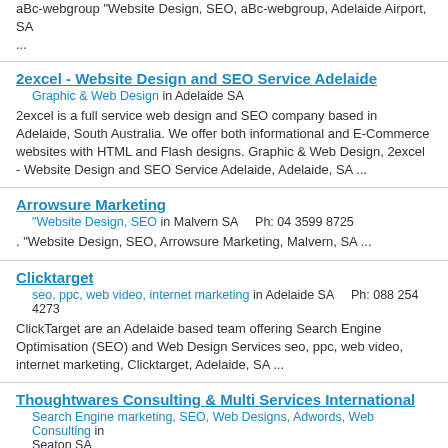aBc-webgroup "Website Design, SEO, aBc-webgroup, Adelaide Airport, SA ...
2excel - Website Design and SEO Service Adelaide
Graphic & Web Design in Adelaide SA
2excel is a full service web design and SEO company based in Adelaide, South Australia. We offer both informational and E-Commerce websites with HTML and Flash designs. Graphic & Web Design, 2excel - Website Design and SEO Service Adelaide, Adelaide, SA ...
Arrowsure Marketing
"Website Design, SEO in Malvern SA    Ph: 04 3599 8725
. "Website Design, SEO, Arrowsure Marketing, Malvern, SA ...
Clicktarget
seo, ppc, web video, internet marketing in Adelaide SA    Ph: 088 254 4273
ClickTarget are an Adelaide based team offering Search Engine Optimisation (SEO) and Web Design Services seo, ppc, web video, internet marketing, Clicktarget, Adelaide, SA ...
Thoughtwares Consulting & Multi Services International
Search Engine marketing, SEO, Web Designs, Adwords, Web Consulting in Seaton SA